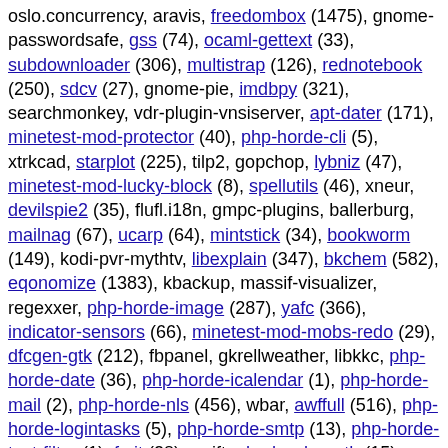oslo.concurrency, aravis, freedombox (1475), gnome-passwordsafe, gss (74), ocaml-gettext (33), subdownloader (306), multistrap (126), rednotebook (250), sdcv (27), gnome-pie, imdbpy (321), searchmonkey, vdr-plugin-vnsiserver, apt-dater (171), minetest-mod-protector (40), php-horde-cli (5), xtrkcad, starplot (225), tilp2, gopchop, lybniz (47), minetest-mod-lucky-block (8), spellutils (46), xneur, devilspie2 (35), flufl.i18n, gmpc-plugins, ballerburg, mailnag (67), ucarp (64), mintstick (34), bookworm (149), kodi-pvr-mythtv, libexplain (347), bkchem (582), eqonomize (1383), kbackup, massif-visualizer, regexxer, php-horde-image (287), yafc (366), indicator-sensors (66), minetest-mod-mobs-redo (29), dfcgen-gtk (212), fbpanel, gkrellweather, libkkc, php-horde-date (36), php-horde-icalendar (1), php-horde-mail (2), php-horde-nls (456), wbar, awffull (516), php-horde-logintasks (5), php-horde-smtp (13), php-horde-text-filter (1), fmit (28), swift, php-horde-auth (15), php-horde-browser (8), php-horde-imap-client (54), php-horde-mime (4), php-horde-perms (5), php-horde-share (1), php-